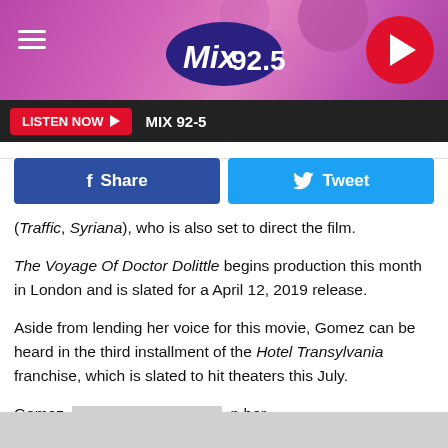Mix 92.5 — LISTEN NOW — MIX 92-5
[Figure (logo): Mix 92.5 radio station logo in header banner with hamburger menu and play button]
f Share   Twitter Tweet
(Traffic, Syriana), who is also set to direct the film.
The Voyage Of Doctor Dolittle begins production this month in London and is slated for a April 12, 2019 release.
Aside from lending her voice for this movie, Gomez can be heard in the third installment of the Hotel Transylvania franchise, which is slated to hit theaters this July.
Gomez [redacted] her [redacted] her mom) [redacted] York